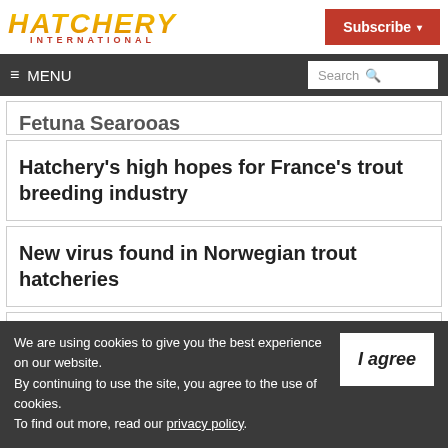HATCHERY INTERNATIONAL
≡ MENU
Fetuna Searooas
Hatchery's high hopes for France's trout breeding industry
New virus found in Norwegian trout hatcheries
We are using cookies to give you the best experience on our website. By continuing to use the site, you agree to the use of cookies. To find out more, read our privacy policy.